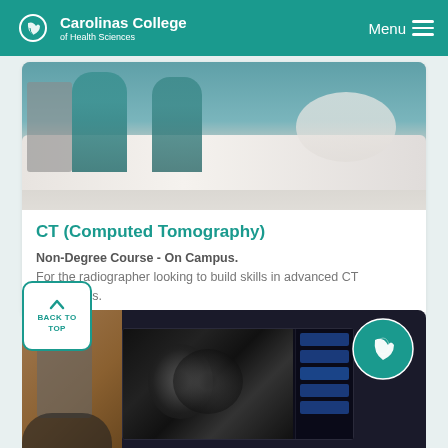Carolinas College of Health Sciences
[Figure (photo): Medical professional in scrubs attending to a patient lying on a table, clinical setting]
CT (Computed Tomography)
Non-Degree Course - On Campus. For the radiographer looking to build skills in advanced CT procedures.
[Figure (illustration): Back to Top button with upward arrow]
[Figure (photo): Computer screen displaying CT scan images in a radiology room with Carolinas College logo overlay]